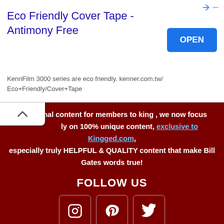[Figure (screenshot): Advertisement banner: 'Eco Friendly Cover Tape - Antimony Free' with OPEN button. KennFilm 3000 series are eco friendly. kenner.com.tw/Eco+Friendly/Cover+Tape]
to external content for members to 'king', we now focus only on 100% unique content, exclusive to Kingged.com, especially truly HELPFUL & QUALITY content that make Bill Gates words true!
FOLLOW US
[Figure (infographic): Three social media icons in rounded-rectangle boxes: Instagram, Pinterest, Twitter]
Login  Join  Submit Content  Contact Us  Privacy Policy  Terms of Service  Affiliate Disclaimer  Earnings Disclaimer  © Kingged.com 2012 - 2022